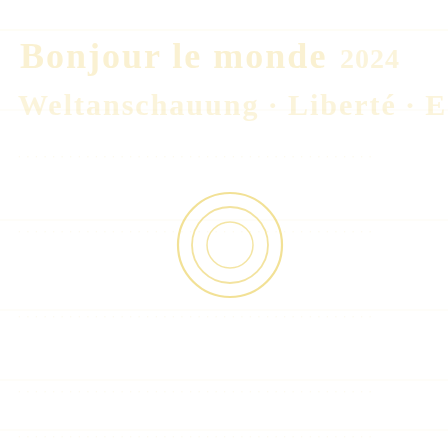[Figure (other): Faint golden/yellow decorative text and concentric circles watermark on white background. The top portion shows two lines of large, very faint yellow stylized text/script that appears to be a logo or title. In the center of the page there are three concentric circles in a light golden-yellow color. Additional faint yellow ruled lines appear at various positions across the page background.]